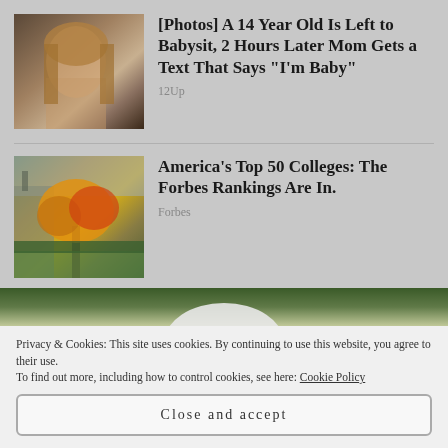[Figure (photo): Photo of a young teenage girl with long blonde hair, looking serious]
[Photos] A 14 Year Old Is Left to Babysit, 2 Hours Later Mom Gets a Text That Says "I'm Baby"
12Up
[Figure (photo): Photo of an autumn tree with orange and yellow leaves on a college campus with a Gothic building in background]
America's Top 50 Colleges: The Forbes Rankings Are In.
Forbes
[Figure (photo): Partial image of outdoor scene with green foliage, showing top of a white domed object]
Privacy & Cookies: This site uses cookies. By continuing to use this website, you agree to their use.
To find out more, including how to control cookies, see here: Cookie Policy
Close and accept
[Figure (photo): Partial image strip of outdoor green scene at page bottom]